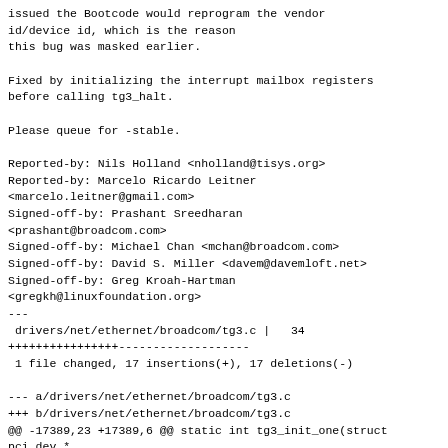issued the Bootcode would reprogram the vendor id/device id, which is the reason this bug was masked earlier.

Fixed by initializing the interrupt mailbox registers before calling tg3_halt.

Please queue for -stable.

Reported-by: Nils Holland <nholland@tisys.org>
Reported-by: Marcelo Ricardo Leitner <marcelo.leitner@gmail.com>
Signed-off-by: Prashant Sreedharan <prashant@broadcom.com>
Signed-off-by: Michael Chan <mchan@broadcom.com>
Signed-off-by: David S. Miller <davem@davemloft.net>
Signed-off-by: Greg Kroah-Hartman <gregkh@linuxfoundation.org>
---
 drivers/net/ethernet/broadcom/tg3.c |   34
++++++++++++++++-------------------
 1 file changed, 17 insertions(+), 17 deletions(-)

--- a/drivers/net/ethernet/broadcom/tg3.c
+++ b/drivers/net/ethernet/broadcom/tg3.c
@@ -17389,23 +17389,6 @@ static int tg3_init_one(struct pci_dev *
                goto err_out_apeunmap;
        }